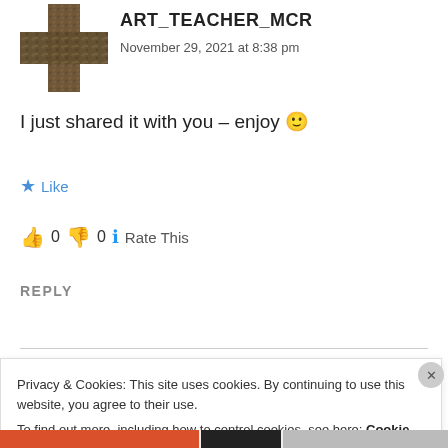[Figure (photo): Avatar image showing a cross shape with mossy/rocky texture for user ART_TEACHER_MCR]
ART_TEACHER_MCR
November 29, 2021 at 8:38 pm
I just shared it with you – enjoy 🙂
★ Like
👍 0 👎 0 ℹ Rate This
REPLY
[Figure (logo): Avatar image with purple/maroon geometric pattern for user MISS EL]
MISS EL
Privacy & Cookies: This site uses cookies. By continuing to use this website, you agree to their use.
To find out more, including how to control cookies, see here: Cookie Policy
I accept!